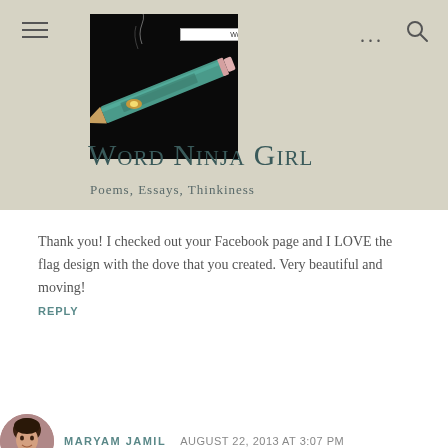[Figure (screenshot): Blog header banner with dark background image of a teal/green pencil with smoke rising from the tip, on a dark background. A small label bar reading 'Word Ninja Girl' appears at the top of the image.]
Word Ninja Girl
Poems, Essays, Thinkiness
Thank you! I checked out your Facebook page and I LOVE the flag design with the dove that you created. Very beautiful and moving!
REPLY
[Figure (photo): Small circular avatar photo of a woman in a red top]
MARYAM JAMIL   AUGUST 22, 2013 AT 3:07 PM